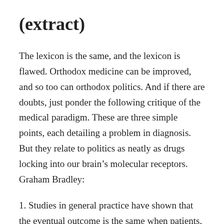(extract)
The lexicon is the same, and the lexicon is flawed. Orthodox medicine can be improved, and so too can orthodox politics. And if there are doubts, just ponder the following critique of the medical paradigm. These are three simple points, each detailing a problem in diagnosis. But they relate to politics as neatly as drugs locking into our brain’s molecular receptors. Graham Bradley:
1. Studies in general practice have shown that the eventual outcome is the same when patients, in whom there was no definite diagnosis, were either